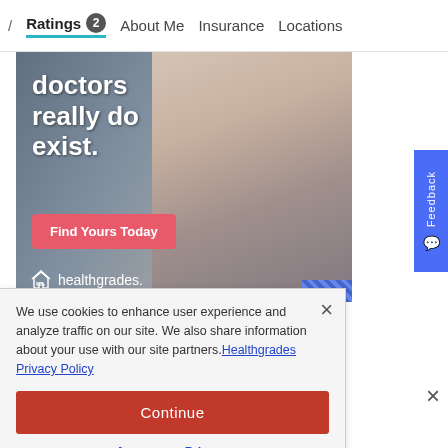/ Ratings 2  About Me  Insurance  Locations
[Figure (photo): Healthgrades advertisement showing a female doctor with stethoscope. Text reads 'doctors really do exist.' with a 'Find Yours Today' button and healthgrades logo.]
We use cookies to enhance user experience and analyze traffic on our site. We also share information about your use with our site partners. Healthgrades Privacy Policy
Continue
Access my Privacy Preferences